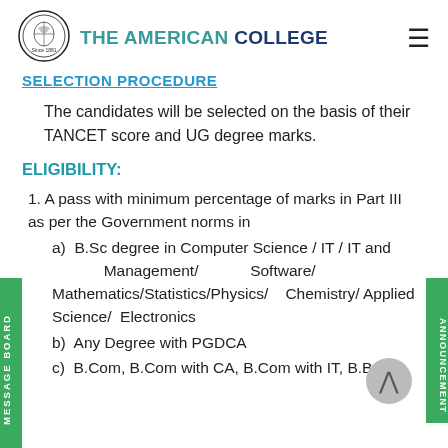THE AMERICAN COLLEGE — Since 1881
SELECTION PROCEDURE
The candidates will be selected on the basis of their TANCET score and UG degree marks.
ELIGIBILITY:
1. A pass with minimum percentage of marks in Part III as per the Government norms in
a) B.Sc degree in Computer Science / IT / IT and Management/ Software/ Mathematics/Statistics/Physics/ Chemistry/ Applied Science/ Electronics
b) Any Degree with PGDCA
c) B.Com, B.Com with CA, B.Com with IT, B.B.A